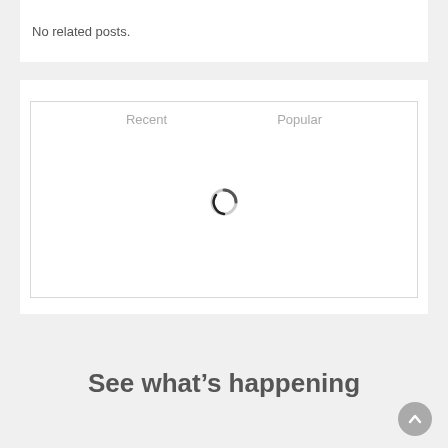No related posts.
[Figure (screenshot): A widget box with two tab labels 'Recent' and 'Popular', and a loading spinner in the center]
See what's happening